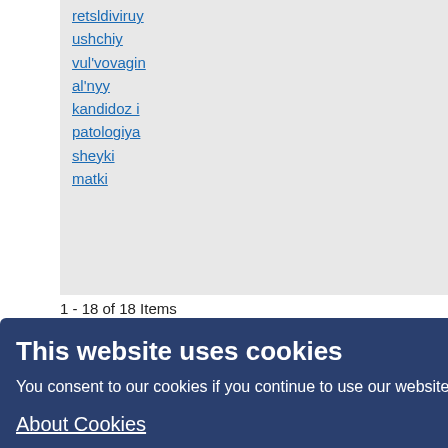retsldiviruy
ushchiy
vul'vovagin
al'nyy
kandidoz i
patologiya
sheyki
matki
1 - 18 of 18 Items
Search tips:
Searches are case insensitive
Common words are ignored
By default, only articles containing all terms in the query are returned (i.e., AND is implied)
Combine multiple words with OR to find articles containing either term; e.g., education OR research
Use parentheses to create more complex queries; e.g., archive ((journal OR conference) NOT theses)
Search for an exact phrase by putting it in quotes; e.g., "open access publishing"
Exclude a word by prefixing it with - or NOT; e.g. online -politics or online NOT politics
Use * in a term as a wildcard to match any sequence of characters; e.g., soci* morality would match documents containing "sociological" or "societal"
[Figure (screenshot): Cookie consent overlay popup with dark blue background, title 'This website uses cookies', body text 'You consent to our cookies if you continue to use our website.', 'About Cookies' link, and an OK button]